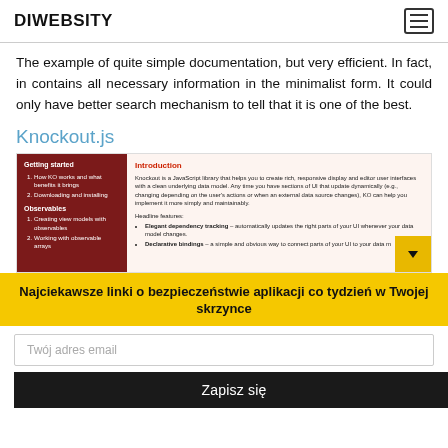DIWEBSITY
The example of quite simple documentation, but very efficient. In fact, in contains all necessary information in the minimalist form. It could only have better search mechanism to tell that it is one of the best.
Knockout.js
[Figure (screenshot): Screenshot of Knockout.js documentation page showing dark red sidebar with 'Getting started' and 'Observables' sections, and main content area with Introduction text and Headline features including Elegant dependency tracking and Declarative bindings.]
Najciekawsze linki o bezpieczeństwie aplikacji co tydzień w Twojej skrzynce
Twój adres email
Zapisz się